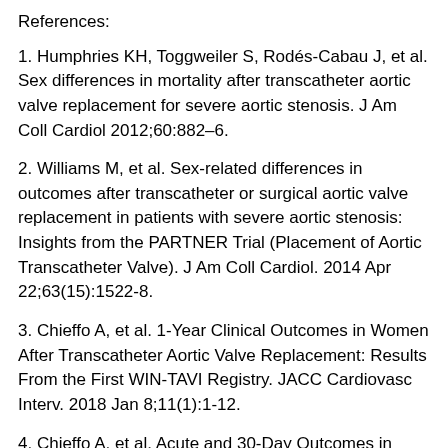References:
1. Humphries KH, Toggweiler S, Rodés-Cabau J, et al. Sex differences in mortality after transcatheter aortic valve replacement for severe aortic stenosis. J Am Coll Cardiol 2012;60:882–6.
2. Williams M, et al. Sex-related differences in outcomes after transcatheter or surgical aortic valve replacement in patients with severe aortic stenosis: Insights from the PARTNER Trial (Placement of Aortic Transcatheter Valve). J Am Coll Cardiol. 2014 Apr 22;63(15):1522-8.
3. Chieffo A, et al. 1-Year Clinical Outcomes in Women After Transcatheter Aortic Valve Replacement: Results From the First WIN-TAVI Registry. JACC Cardiovasc Interv. 2018 Jan 8;11(1):1-12.
4. Chieffo A, et al. Acute and 30-Day Outcomes in Women After TAVR: Results From the WIN-TAVI (Women's INternational